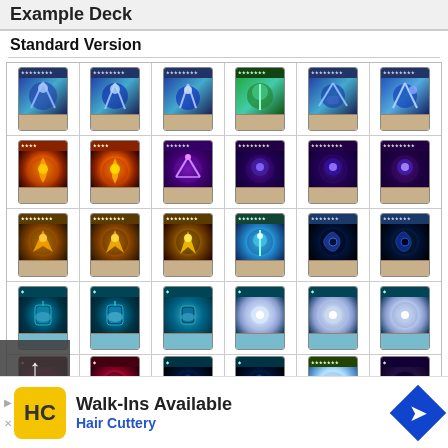Example Deck
Standard Version
[Figure (illustration): A 5-row by 6-column grid of Yu-Gi-Oh! trading cards. Row 1: 6 blue/teal synchro-type monster cards. Row 2: 6 effect monster cards (fire/purple types). Row 3: 6 dark monster cards. Row 4: 6 spell/trap cards (teal). Row 5: 6 spell/trap cards partially visible.]
Top
Walk-Ins Available
Hair Cuttery